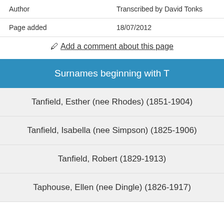| Author | Transcribed by David Tonks |
| --- | --- |
| Page added | 18/07/2012 |
✦ Add a comment about this page
Surnames beginning with T
Tanfield, Esther (nee Rhodes) (1851-1904)
Tanfield, Isabella (nee Simpson) (1825-1906)
Tanfield, Robert (1829-1913)
Taphouse, Ellen (nee Dingle) (1826-1917)